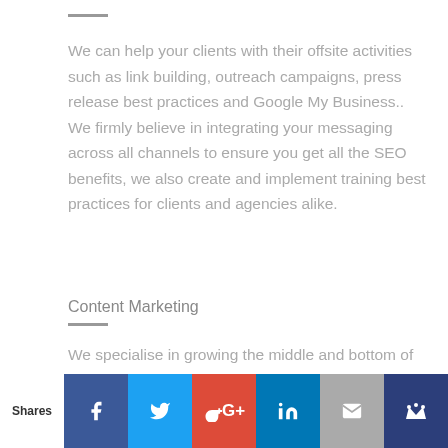We can help your clients with their offsite activities such as link building, outreach campaigns, press release best practices and Google My Business.. We firmly believe in integrating your messaging across all channels to ensure you get all the SEO benefits, we also create and implement training best practices for clients and agencies alike.
Content Marketing
We specialise in growing the middle and bottom of the funnel with a landing page...